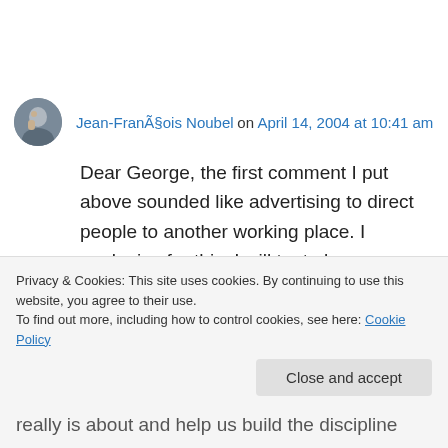Jean-François Noubel on April 14, 2004 at 10:41 am
Dear George, the first comment I put above sounded like advertising to direct people to another working place. I apologize for this. I will try to be more precise here and use less shortcuts.
I would like to check whether it's possible to list
really is about and help us build the discipline
Privacy & Cookies: This site uses cookies. By continuing to use this website, you agree to their use.
To find out more, including how to control cookies, see here: Cookie Policy
Close and accept